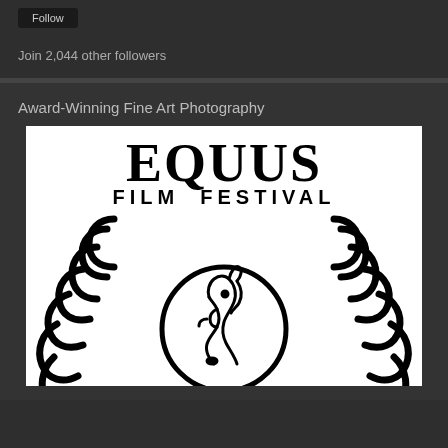[Figure (screenshot): Follow button (dark UI element)]
Join 2,044 other followers
Award-Winning Fine Art Photography
[Figure (logo): Equus Film Festival logo: large text 'EQUUS' above 'FILM FESTIVAL' with horseshoe wreath and horse head illustration]